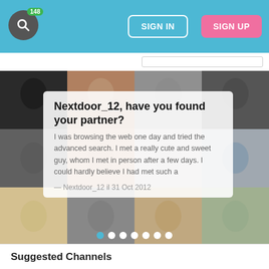SIGN IN  SIGN UP  148
[Figure (screenshot): Photo collage of multiple people's profile pictures in a grid layout]
Nextdoor_12, have you found your partner?
I was browsing the web one day and tried the advanced search. I met a really cute and sweet guy, whom I met in person after a few days. I could hardly believe I had met such a
— Nextdoor_12 il 31 Oct 2012
Suggested Channels